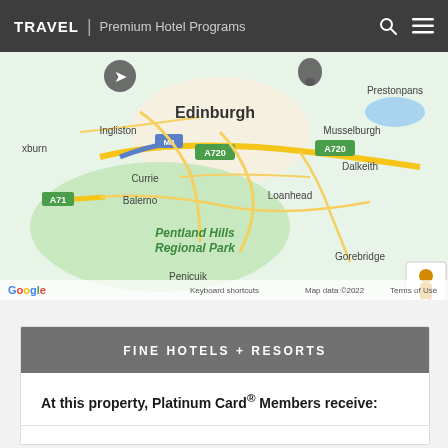TRAVEL | Premium Hotel Programs
[Figure (map): Google Maps view of Edinburgh and surrounding area including Pentland Hills Regional Park, Dalkeith, Loanhead, Balerno, Currie, Musselburgh, Prestonpans, Gorebridge, Penicuik. Roads A71, A720, M8 visible. Map data ©2022.]
FINE HOTELS + RESORTS
At this property, Platinum Card® Members receive: